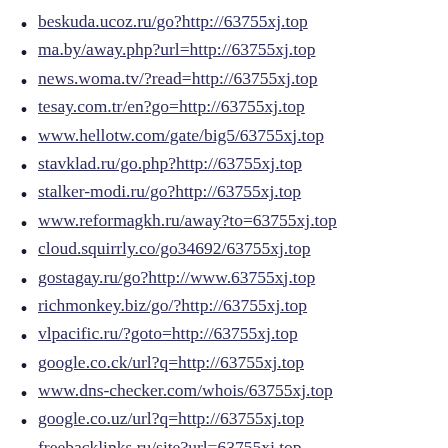beskuda.ucoz.ru/go?http://63755xj.top
ma.by/away.php?url=http://63755xj.top
news.woma.tv/?read=http://63755xj.top
tesay.com.tr/en?go=http://63755xj.top
www.hellotw.com/gate/big5/63755xj.top
stavklad.ru/go.php?http://63755xj.top
stalker-modi.ru/go?http://63755xj.top
www.reformagkh.ru/away?to=63755xj.top
cloud.squirrly.co/go34692/63755xj.top
gostagay.ru/go?http://www.63755xj.top
richmonkey.biz/go/?http://63755xj.top
vlpacific.ru/?goto=http://63755xj.top
google.co.ck/url?q=http://63755xj.top
www.dns-checker.com/whois/63755xj.top
google.co.uz/url?q=http://63755xj.top
freebacklinks.ru/site?url=63755xj.top
google.co.ls/url?q=http://63755xj.top
www.paul2.de/url?q=http://63755xj.top
google.co.zm/url?q=http://63755xj.top